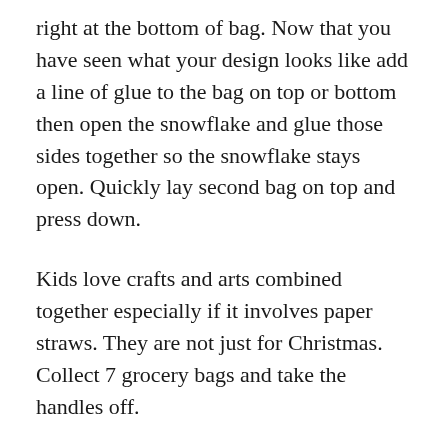right at the bottom of bag. Now that you have seen what your design looks like add a line of glue to the bag on top or bottom then open the snowflake and glue those sides together so the snowflake stays open. Quickly lay second bag on top and press down.
Kids love crafts and arts combined together especially if it involves paper straws. They are not just for Christmas. Collect 7 grocery bags and take the handles off.
This Grab Go craft will be offered at t. Translated these are Butter Bread Bags. Take